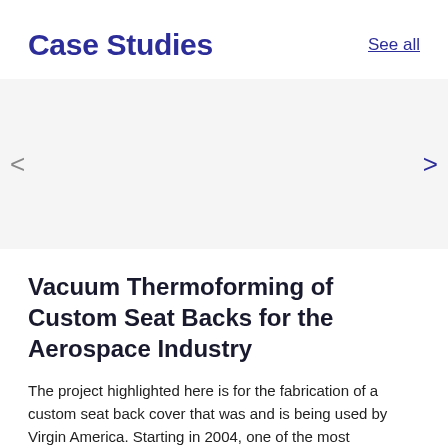Case Studies
See all
Vacuum Thermoforming of Custom Seat Backs for the Aerospace Industry
The project highlighted here is for the fabrication of a custom seat back cover that was and is being used by Virgin America. Starting in 2004, one of the most